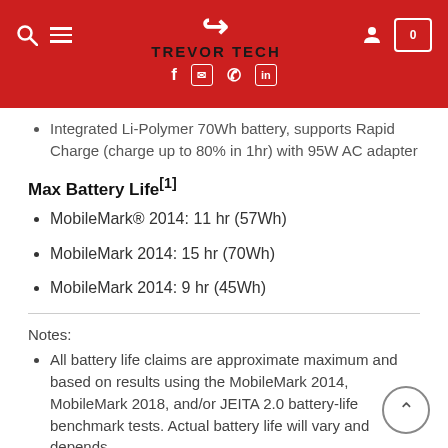TREVOR TECH
Integrated Li-Polymer 70Wh battery, supports Rapid Charge (charge up to 80% in 1hr) with 95W AC adapter
Max Battery Life[1]
MobileMark® 2014: 11 hr (57Wh)
MobileMark 2014: 15 hr (70Wh)
MobileMark 2014: 9 hr (45Wh)
Notes:
All battery life claims are approximate maximum and based on results using the MobileMark 2014, MobileMark 2018, and/or JEITA 2.0 battery-life benchmark tests. Actual battery life will vary and depends